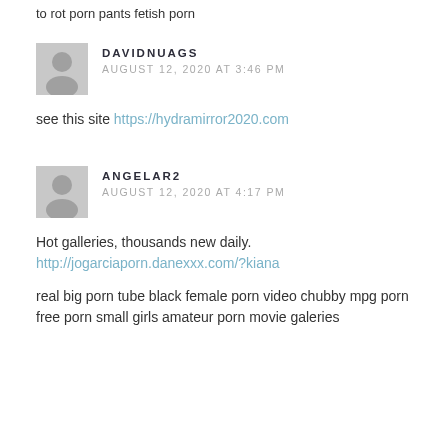to rot porn pants fetish porn
DAVIDNUAGS
AUGUST 12, 2020 AT 3:46 PM
see this site https://hydramirror2020.com
ANGELAR2
AUGUST 12, 2020 AT 4:17 PM
Hot galleries, thousands new daily.
http://jogarciaporn.danexxx.com/?kiana

real big porn tube black female porn video chubby mpg porn free porn small girls amateur porn movie galeries